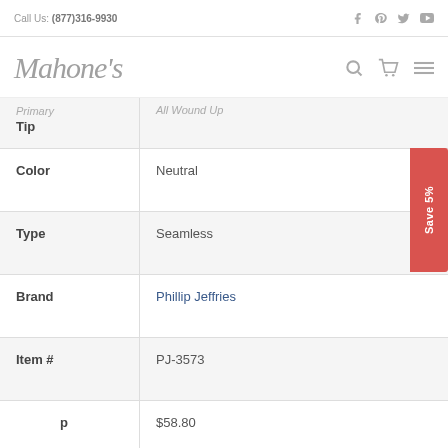Call Us: (877)316-9930
[Figure (logo): Mahone's cursive logo]
| Attribute | Value |
| --- | --- |
| Primary Tip | All Wound Up |
| Color | Neutral |
| Type | Seamless |
| Brand | Phillip Jeffries |
| Item # | PJ-3573 |
| Price | $58.80 |